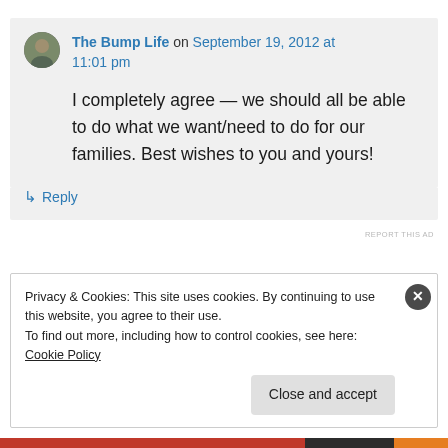The Bump Life on September 19, 2012 at 11:01 pm
I completely agree — we should all be able to do what we want/need to do for our families. Best wishes to you and yours!
↳ Reply
REPORT THIS AD
Privacy & Cookies: This site uses cookies. By continuing to use this website, you agree to their use.
To find out more, including how to control cookies, see here: Cookie Policy
Close and accept